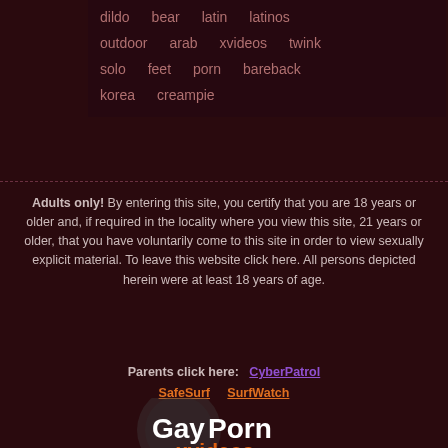dildo  bear  latin  latinos  outdoor  arab  xvideos  twink  solo  feet  porn  bareback  korea  creampie
Adults only! By entering this site, you certify that you are 18 years or older and, if required in the locality where you view this site, 21 years or older, that you have voluntarily come to this site in order to view sexually explicit material. To leave this website click here. All persons depicted herein were at least 18 years of age.
Parents click here:  CyberPatrol  SafeSurf  SurfWatch
[Figure (logo): GayPornXvideos logo with circular background, text showing GayPorn in white and xvideos in orange, url www.gaypornxvideos.com below]
Content removal. We do not own, produce or host the videos displayed on this website. All of the videos displayed here are hosted by websites that are not under our control.